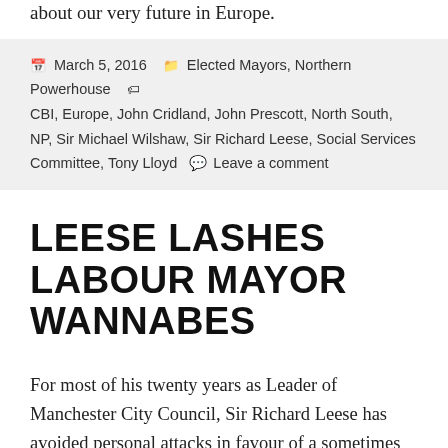about our very future in Europe.
March 5, 2016   Elected Mayors, Northern Powerhouse CBI, Europe, John Cridland, John Prescott, North South, NP, Sir Michael Wilshaw, Sir Richard Leese, Social Services Committee, Tony Lloyd   Leave a comment
LEESE LASHES LABOUR MAYOR WANNABES
For most of his twenty years as Leader of Manchester City Council, Sir Richard Leese has avoided personal attacks in favour of a sometimes